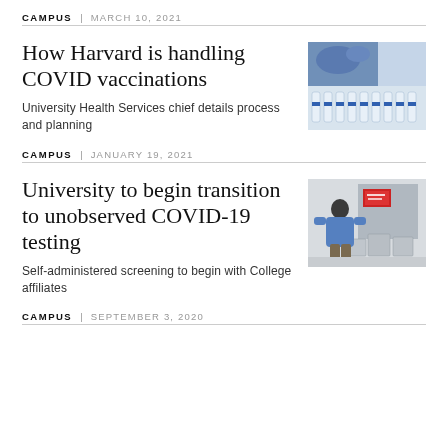CAMPUS | MARCH 10, 2021
How Harvard is handling COVID vaccinations
University Health Services chief details process and planning
[Figure (photo): Gloved hand handling vaccine vials in a tray]
CAMPUS | JANUARY 19, 2021
University to begin transition to unobserved COVID-19 testing
Self-administered screening to begin with College affiliates
[Figure (photo): Person in blue sweater at COVID testing station with bins]
CAMPUS | SEPTEMBER 3, 2020